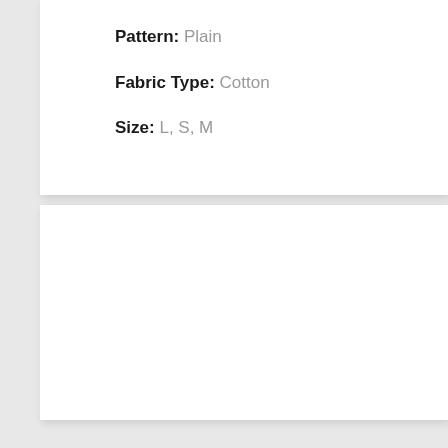Pattern: Plain
Fabric Type: Cotton
Size: L, S, M